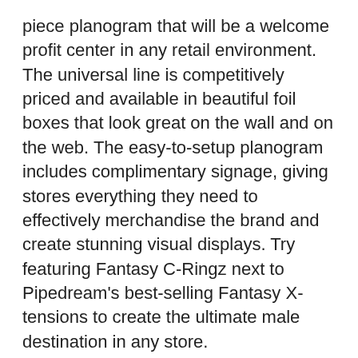piece planogram that will be a welcome profit center in any retail environment. The universal line is competitively priced and available in beautiful foil boxes that look great on the wall and on the web. The easy-to-setup planogram includes complimentary signage, giving stores everything they need to effectively merchandise the brand and create stunning visual displays. Try featuring Fantasy C-Ringz next to Pipedream's best-selling Fantasy X-tensions to create the ultimate male destination in any store.
Pipedream's global merchandising team is ready to visit any customer to provide in-store training, planogram merchandising, and promotional